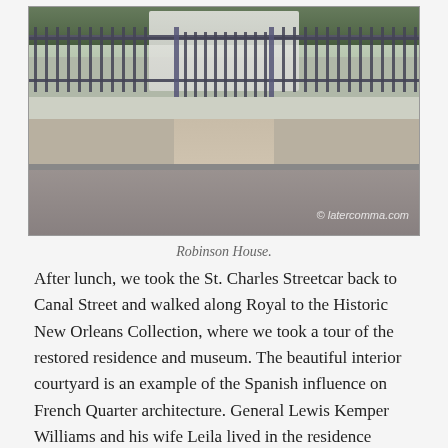[Figure (photo): Exterior photograph of Robinson House showing an ornate iron gate and fence in front of a white mansion with columns, with a driveway and street visible in the foreground. Watermark reads © latercomma.com]
Robinson House.
After lunch, we took the St. Charles Streetcar back to Canal Street and walked along Royal to the Historic New Orleans Collection, where we took a tour of the restored residence and museum. The beautiful interior courtyard is an example of the Spanish influence on French Quarter architecture. General Lewis Kemper Williams and his wife Leila lived in the residence between 1946 and 1963. The Williams accumulated a